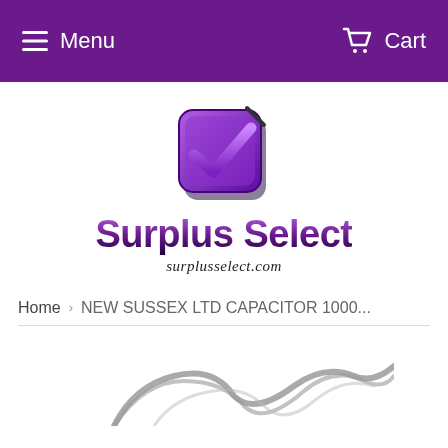Menu   Cart
[Figure (logo): Surplus Select logo: purple checkbox icon above bold purple gradient text 'Surplus Select' with italic URL 'surplusselect.com']
Home  >  NEW SUSSEX LTD CAPACITOR 1000...
[Figure (photo): Product photo of a capacitor component (metallic leads visible) partially shown at bottom of page]